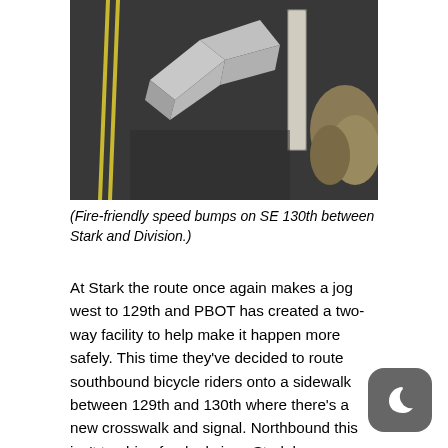[Figure (photo): Aerial/close-up view of fire-friendly speed bumps on a dark asphalt road with white painted markings and a wooden post on SE 130th between Stark and Division.]
(Fire-friendly speed bumps on SE 130th between Stark and Division.)
At Stark the route once again makes a jog west to 129th and PBOT has created a two-way facility to help make it happen more safely. This time they’ve decided to route southbound bicycle riders onto a sidewalk between 129th and 130th where there’s a new crosswalk and signal. Northbound this isn’t too big of a deal since Stark has a buffered bike lane (why all these buffered lanes don’t have physical protection is a mystery to me!). But southbound, getting onto the sidewalk requires